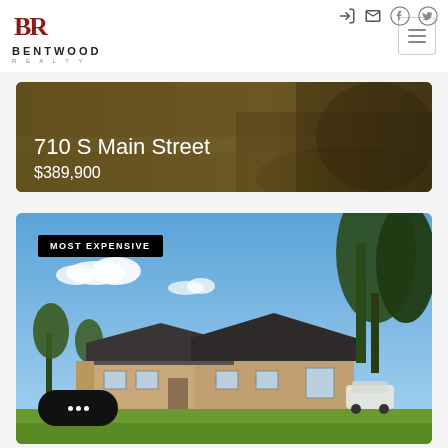[Figure (logo): Bentwood Realty logo with BR monogram in dark red and text BENTWOOD REALTY below]
[Figure (photo): Real estate hero banner showing dirt road/field with address 710 S Main Street and price $389,900 overlaid in white text]
710 S Main Street
$389,900
[Figure (photo): Photograph of a single-story brick ranch house with black roof, green lawn, trees on right side under a blue sky with clouds. Badge reads MOST EXPENSIVE.]